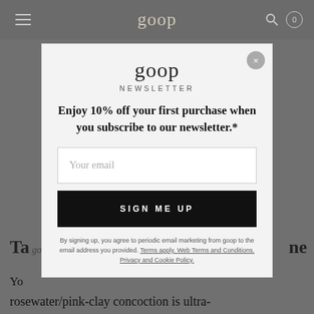goop
[Figure (screenshot): goop website newsletter signup modal overlay. Contains goop logo, NEWSLETTER label, headline about 10% off, email input field, SIGN ME UP button, and legal footnote text.]
goop
NEWSLETTER
Enjoy 10% off your first purchase when you subscribe to our newsletter.*
Your email
SIGN ME UP
By signing up, you agree to periodic email marketing from goop to the email address you provided. Terms apply. Web Terms and Conditions. Privacy and Cookie Policy.